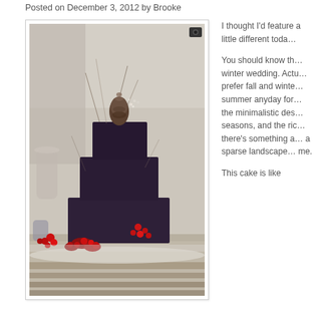Posted on December 3, 2012 by Brooke
[Figure (photo): A dark three-tier wedding cake decorated with pine cones, bare twigs, and red berries, placed on a snow-covered wooden surface outdoors in winter]
I thought I'd feature a little different toda…
You should know th… winter wedding. Actu… prefer fall and winte… summer anyday for… the minimalistic des… seasons, and the ric… there's something a… a sparse landscape… me.
This cake is like